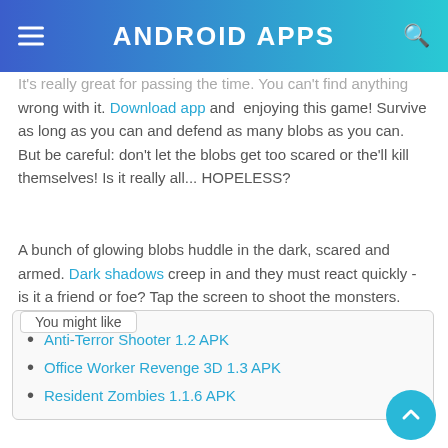ANDROID APPS
It's really great for passing the time. You can't find anything wrong with it. Download app and enjoying this game! Survive as long as you can and defend as many blobs as you can. But be careful: don't let the blobs get too scared or the'll kill themselves! Is it really all... HOPELESS?
A bunch of glowing blobs huddle in the dark, scared and armed. Dark shadows creep in and they must react quickly - is it a friend or foe? Tap the screen to shoot the monsters. React quickly but be careful not to shoot your friends.
You might like
Anti-Terror Shooter 1.2 APK
Office Worker Revenge 3D 1.3 APK
Resident Zombies 1.1.6 APK